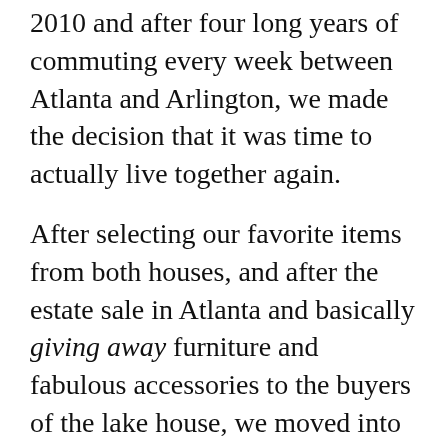2010 and after four long years of commuting every week between Atlanta and Arlington, we made the decision that it was time to actually live together again.
After selecting our favorite items from both houses, and after the estate sale in Atlanta and basically giving away furniture and fabulous accessories to the buyers of the lake house, we moved into the apartment, which seemed tiny in comparison but is rather large by urban-living standards in a market like Arlington.
We were determined NOT to rent storage space because of the associated costs – and also because we wanted to be free to